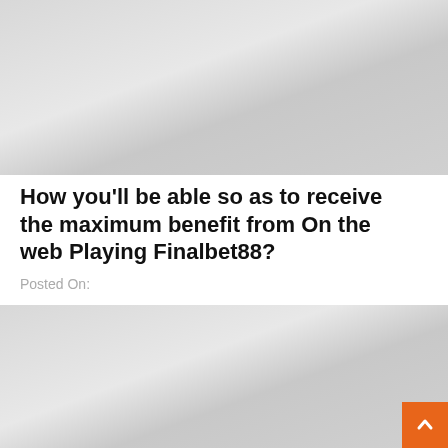[Figure (photo): Gray gradient placeholder image at top of page]
How you'll be able so as to receive the maximum benefit from On the web Playing Finalbet88?
Posted On:
[Figure (photo): Gray gradient placeholder image at bottom with GAMES tag badge]
[Figure (other): Orange scroll-to-top button with upward chevron arrow in bottom right corner]